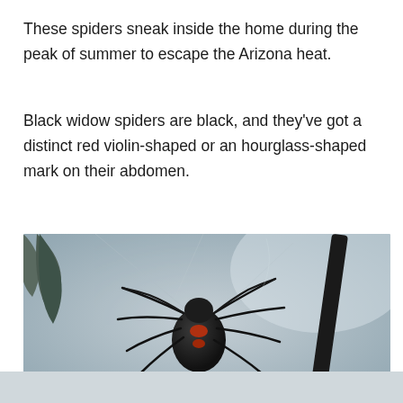These spiders sneak inside the home during the peak of summer to escape the Arizona heat.
Black widow spiders are black, and they've got a distinct red violin-shaped or an hourglass-shaped mark on their abdomen.
[Figure (photo): Close-up photograph of a black widow spider clinging to a stick or twig against a blurred gray background. The spider is black with a visible reddish-orange mark on its abdomen, and its legs are spread out. Spider webs are visible in the background.]